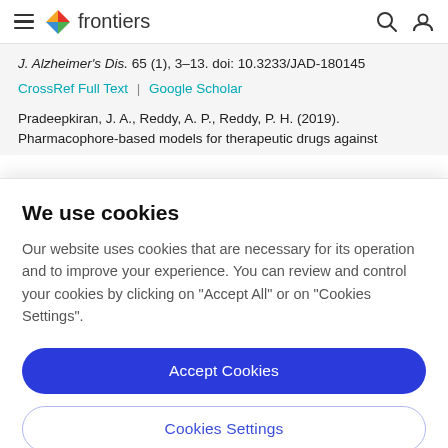frontiers
J. Alzheimer's Dis. 65 (1), 3–13. doi: 10.3233/JAD-180145
CrossRef Full Text | Google Scholar
Pradeepkiran, J. A., Reddy, A. P., Reddy, P. H. (2019). Pharmacophore-based models for therapeutic drugs against
We use cookies
Our website uses cookies that are necessary for its operation and to improve your experience. You can review and control your cookies by clicking on "Accept All" or on "Cookies Settings".